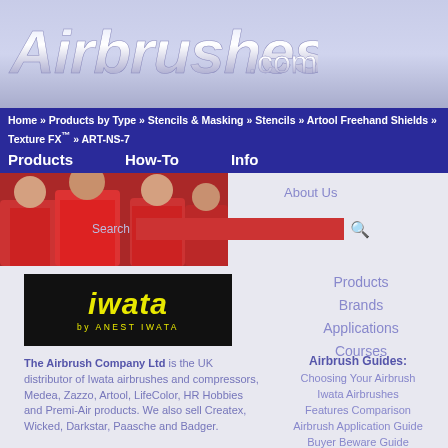Airbrushes.com
Home » Products by Type » Stencils & Masking » Stencils » Artool Freehand Shields » Texture FX™ » ART-NS-7
Products   How-To   Info
About Us
[Figure (logo): iwata by ANEST IWATA logo - yellow italic text on black background]
Products
Brands
Applications
Courses
The Airbrush Company Ltd is the UK distributor of Iwata airbrushes and compressors, Medea, Zazzo, Artool, LifeColor, HR Hobbies and Premi-Air products. We also sell Createx, Wicked, Darkstar, Paasche and Badger.
Airbrush Guides:
Choosing Your Airbrush
Iwata Airbrushes
Features Comparison
Airbrush Application Guide
Buyer Beware Guide
How-To Guides